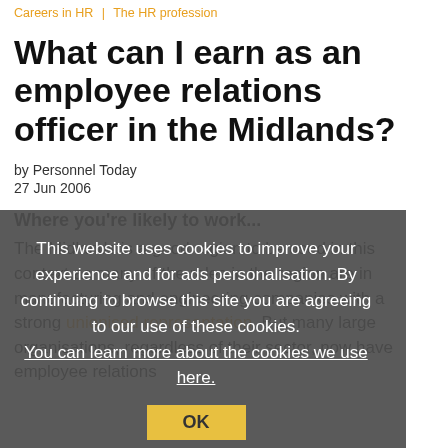Careers in HR  |  The HR profession
What can I earn as an employee relations officer in the Midlands?
by Personnel Today
27 Jun 2006
Where you're likely to work...
The Midlands is a good region to be used in this context as many of the roles in the region are in manufacturing and engineering companies with a strong unionised representation. But many large organisations, regardless of their sector, now have employee relations
This website uses cookies to improve your experience and for ads personalisation. By continuing to browse this site you are agreeing to our use of these cookies. You can learn more about the cookies we use here.
OK